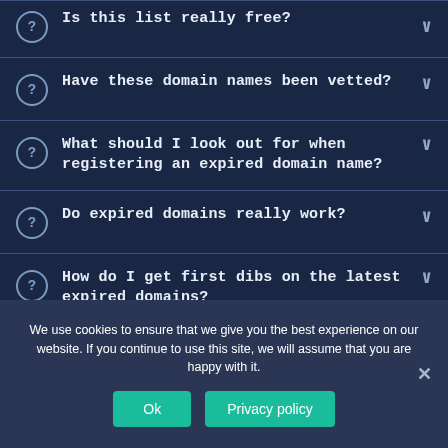Is this list really free?
Have these domain names been vetted?
What should I look out for when registering an expired domain name?
Do expired domains really work?
How do I get first dibs on the latest expired domains?
We use cookies to ensure that we give you the best experience on our website. If you continue to use this site, we will assume that you are happy with it.